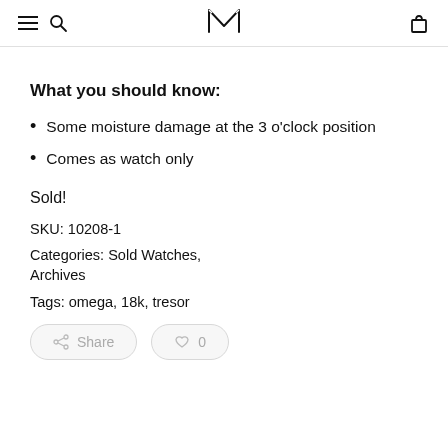M (logo with hamburger, search, and bag icons)
What you should know:
Some moisture damage at the 3 o'clock position
Comes as watch only
Sold!
SKU: 10208-1
Categories: Sold Watches, Archives
Tags: omega, 18k, tresor